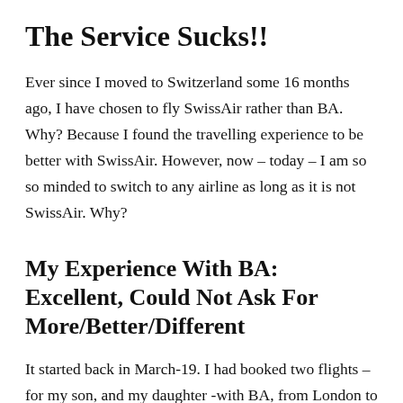The Service Sucks!!
Ever since I moved to Switzerland some 16 months ago, I have chosen to fly SwissAir rather than BA. Why? Because I found the travelling experience to be better with SwissAir. However, now – today – I am so so minded to switch to any airline as long as it is not SwissAir. Why?
My Experience With BA: Excellent, Could Not Ask For More/Better/Different
It started back in March-19. I had booked two flights – for my son, and my daughter -with BA, from London to